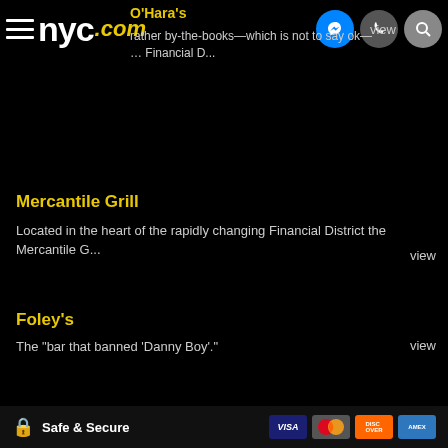nyc.com
O'Hara's
rather by-the-books—which is not to say ok— ... Financial D...
Mercantile Grill
Located in the heart of the rapidly changing Financial District the Mercantile G...
Foley's
The "bar that banned 'Danny Boy'."
Safe & Secure